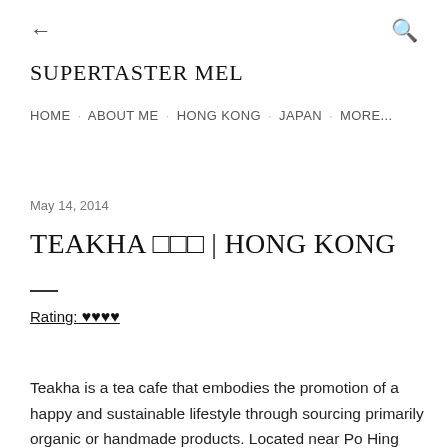← SUPERTASTER MEL | HOME · ABOUT ME · HONG KONG · JAPAN · MORE...
May 14, 2014
TEAKHA □□□ | HONG KONG
Rating: ♥♥♥♥
Teakha is a tea cafe that embodies the promotion of a happy and sustainable lifestyle through sourcing primarily organic or handmade products. Located near Po Hing Fong (or PoHo), the cafe is nestled in a quiet alley and surrounded by unique